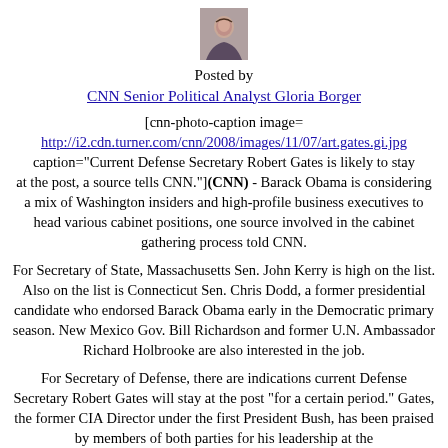[Figure (photo): Small headshot photo of Gloria Borger]
Posted by
CNN Senior Political Analyst Gloria Borger
[cnn-photo-caption image= http://i2.cdn.turner.com/cnn/2008/images/11/07/art.gates.gi.jpg caption="Current Defense Secretary Robert Gates is likely to stay at the post, a source tells CNN."](CNN) - Barack Obama is considering a mix of Washington insiders and high-profile business executives to head various cabinet positions, one source involved in the cabinet gathering process told CNN.
For Secretary of State, Massachusetts Sen. John Kerry is high on the list. Also on the list is Connecticut Sen. Chris Dodd, a former presidential candidate who endorsed Barack Obama early in the Democratic primary season. New Mexico Gov. Bill Richardson and former U.N. Ambassador Richard Holbrooke are also interested in the job.
For Secretary of Defense, there are indications current Defense Secretary Robert Gates will stay at the post "for a certain period." Gates, the former CIA Director under the first President Bush, has been praised by members of both parties for his leadership at the